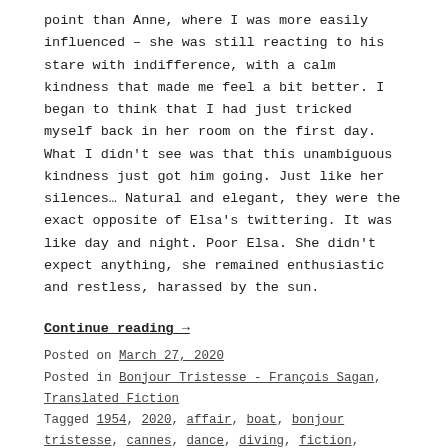point than Anne, where I was more easily influenced – she was still reacting to his stare with indifference, with a calm kindness that made me feel a bit better. I began to think that I had just tricked myself back in her room on the first day. What I didn't see was that this unambiguous kindness just got him going. Just like her silences… Natural and elegant, they were the exact opposite of Elsa's twittering. It was like day and night. Poor Elsa. She didn't expect anything, she remained enthusiastic and restless, harassed by the sun.
Continue reading →
Posted on March 27, 2020
Posted in Bonjour Tristesse - François Sagan, Translated Fiction
Tagged 1954, 2020, affair, boat, bonjour tristesse, cannes, dance, diving, fiction, fling, François Sagan, france, french, holiday, love, mediterranean, migrant, paris, relationship, remix, sail, Saint-Tropez, sea, sex, shell, story, sun, translated, youth Leave a comment